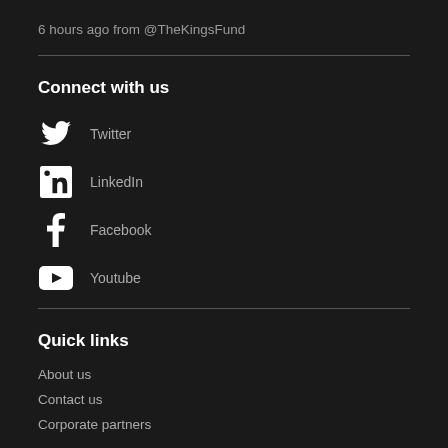6 hours ago from @TheKingsFund
Connect with us
Twitter
LinkedIn
Facebook
Youtube
Quick links
About us
Contact us
Corporate partners